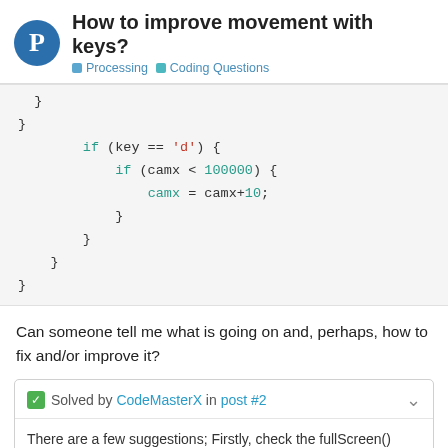How to improve movement with keys? Processing · Coding Questions
}
}
        if (key == 'd') {
            if (camx < 100000) {
                camx = camx+10;
            }
        }
    }
}
Can someone tell me what is going on and, perhaps, how to fix and/or improve it?
✓ Solved by CodeMasterX in post #2
There are a few suggestions; Firstly, check the fullScreen() function. Secondly, while you are testing the game, I suggest you reduce the grid size (so its put it in a varaible. Thirdly about the key
1 / 10